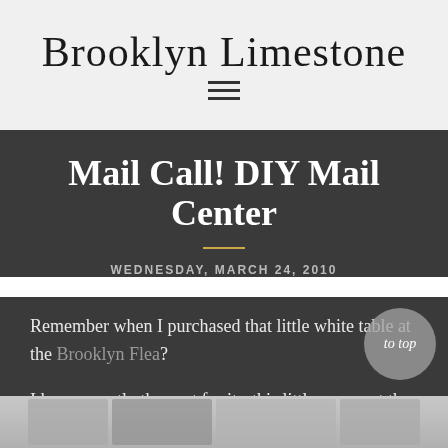Brooklyn Limestone
Mail Call! DIY Mail Center
WEDNESDAY, MARCH 24, 2010
Remember when I purchased that little white table at the Brooklyn Flea?
I knew exactly the spot for it - this little corner at the end of my hallway. We needed a "mail drop" kind of spot and this was just the thing.
[Figure (photo): Bottom strip showing thumbnail images of related blog posts or site content]